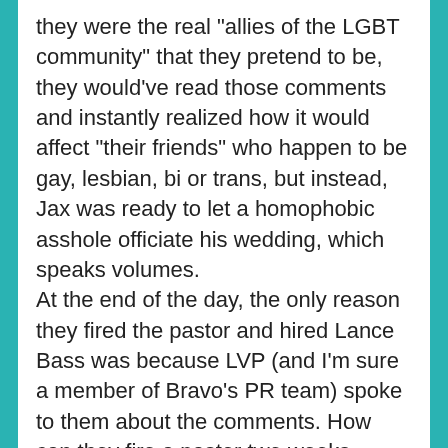they were the real "allies of the LGBT community" that they pretend to be, they would've read those comments and instantly realized how it would affect "their friends" who happen to be gay, lesbian, bi or trans, but instead, Jax was ready to let a homophobic asshole officiate his wedding, which speaks volumes.
At the end of the day, the only reason they fired the pastor and hired Lance Bass was because LVP (and I'm sure a member of Bravo's PR team) spoke to them about the comments. How can they fire a pastor two weeks before their wedding after his